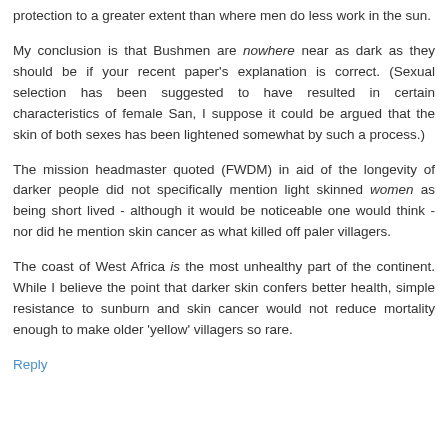protection to a greater extent than where men do less work in the sun.
My conclusion is that Bushmen are nowhere near as dark as they should be if your recent paper's explanation is correct. (Sexual selection has been suggested to have resulted in certain characteristics of female San, I suppose it could be argued that the skin of both sexes has been lightened somewhat by such a process.)
The mission headmaster quoted (FWDM) in aid of the longevity of darker people did not specifically mention light skinned women as being short lived - although it would be noticeable one would think - nor did he mention skin cancer as what killed off paler villagers.
The coast of West Africa is the most unhealthy part of the continent. While I believe the point that darker skin confers better health, simple resistance to sunburn and skin cancer would not reduce mortality enough to make older 'yellow' villagers so rare.
Reply